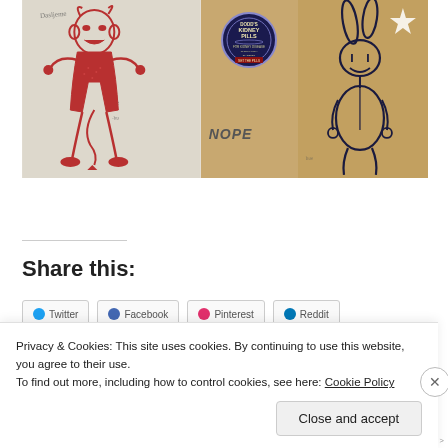[Figure (photo): Artwork showing cartoon figures on burlap/linen fabric: left panel has a red cartoon devil/demon figure, center panel has a Dodd's Kidney Pills tin label and the word 'NOPE', right panel has a cartoon donkey/rabbit figure in dark ink. Handwritten signatures visible.]
Share this:
Privacy & Cookies: This site uses cookies. By continuing to use this website, you agree to their use.
To find out more, including how to control cookies, see here: Cookie Policy